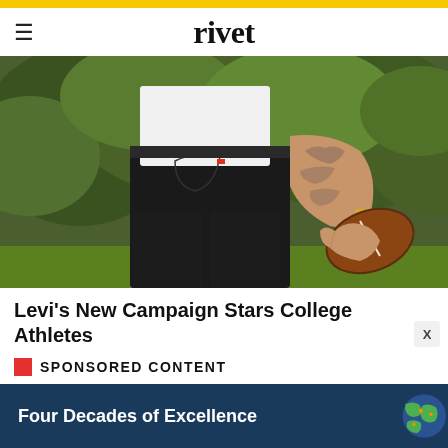rivet
[Figure (photo): Person wearing black Levi's jeans and white t-shirt, holding a brown football, standing outdoors with green trees in background. Tattoos visible on arm, gold bracelet on wrist. Red Levi's tab visible on back pocket.]
Levi's New Campaign Stars College Athletes
SPONSORED CONTENT
[Figure (infographic): Advertisement banner with dark navy blue background reading 'Four Decades of Excellence' with a globe/earth graphic on the right side showing green continents.]